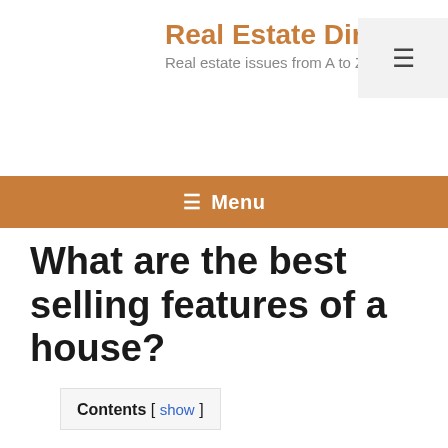Real Estate Directory
Real estate issues from A to Z
≡ Menu
What are the best selling features of a house?
Contents [ show ]